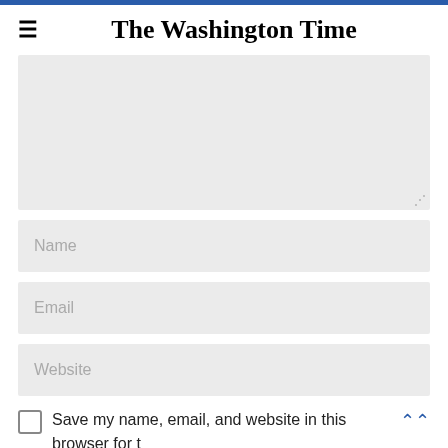The Washington Times
[Figure (screenshot): Large grey textarea input box for comment entry with resize handle in bottom right corner]
Name
Email
Website
Save my name, email, and website in this browser for t next time I comment.